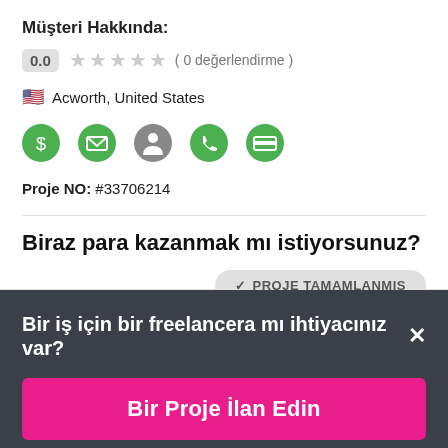Müşteri Hakkında:
0.0  ★★★★★  ( 0 değerlendirme )
🇺🇸 Acworth, United States
[Figure (infographic): Row of 5 green icons: payment shield, envelope, person, phone, credit card]
Proje NO: #33706214
Biraz para kazanmak mı istiyorsunuz?
✓ PROJE TAMAMLANMIŞ
E-posta adresiniz
Bir iş için bir freelancera mı ihtiyacınız var?  ✕
Bir Proje İlan Edin